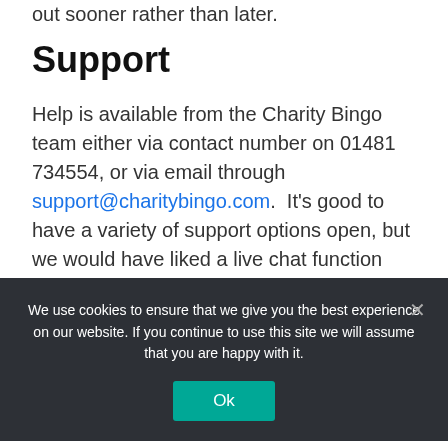out sooner rather than later.
Support
Help is available from the Charity Bingo team either via contact number on 01481 734554, or via email through support@charitybingo.com.  It's good to have a variety of support options open, but we would have liked a live chat function
We use cookies to ensure that we give you the best experience on our website. If you continue to use this site we will assume that you are happy with it.
codes, games and genuine heart behind its premise but the fact that players will need to spend and play £100 before withdrawing